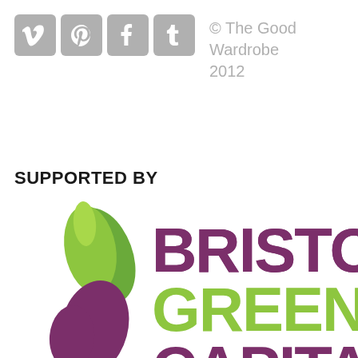[Figure (logo): Social media icons in grey boxes: Vimeo (v), Pinterest (p), Facebook (f), Tumblr (t)]
© The Good Wardrobe 2012
SUPPORTED BY
[Figure (logo): Bristol Green Capital logo: green leaf graphic on left, purple and green bold text reading BRISTOL GREEN CAPITAL (partially cut off at bottom)]